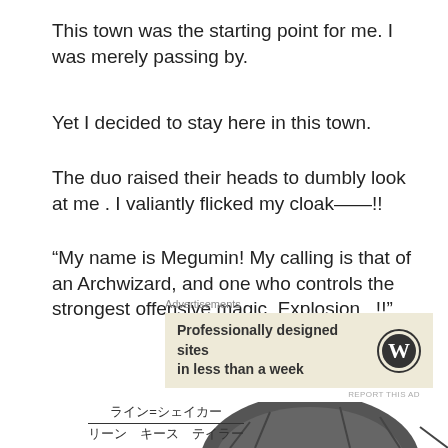This town was the starting point for me. I was merely passing by.
Yet I decided to stay here in this town.
The duo raised their heads to dumbly look at me . I valiantly flicked my cloak——!!
“My name is Megumin! My calling is that of an Archwizard, and one who controls the strongest offensive magic, Explosion...!!”
Advertisements
[Figure (other): WordPress advertisement banner: 'Professionally designed sites in less than a week' with WordPress logo]
REPORT THIS AD
[Figure (illustration): Manga-style illustration of a character with dark hair, bottom portion visible. Japanese text caption: ライン=シェイカー / リーン　キース　テイラー]